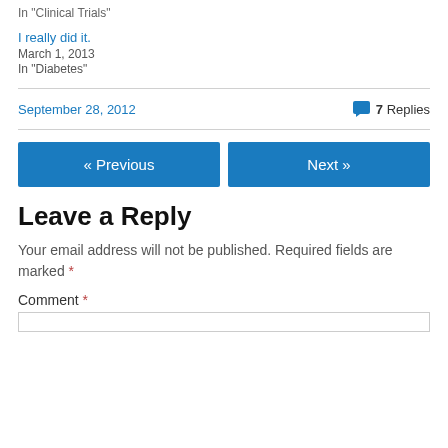In "Clinical Trials"
I really did it.
March 1, 2013
In "Diabetes"
September 28, 2012
7 Replies
« Previous
Next »
Leave a Reply
Your email address will not be published. Required fields are marked *
Comment *